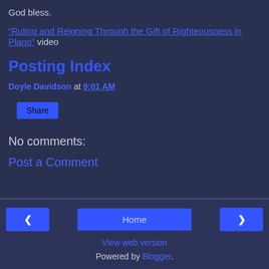God bless.
“Ruling and Reigning Through the Gift of Righteousness in Plano” video
Posting Index
Doyle Davidson at 9:01 AM
Share
No comments:
Post a Comment
< Home > View web version Powered by Blogger.